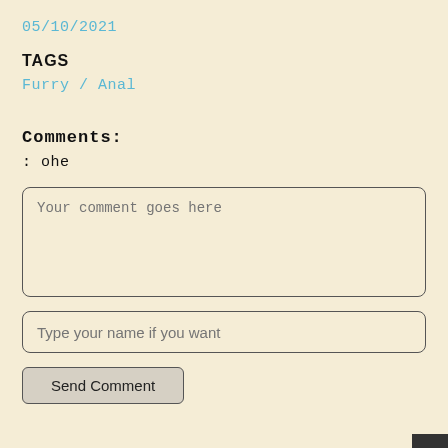05/10/2021
TAGS
Furry / Anal
Comments:
: ohe
Your comment goes here
Type your name if you want
Send Comment